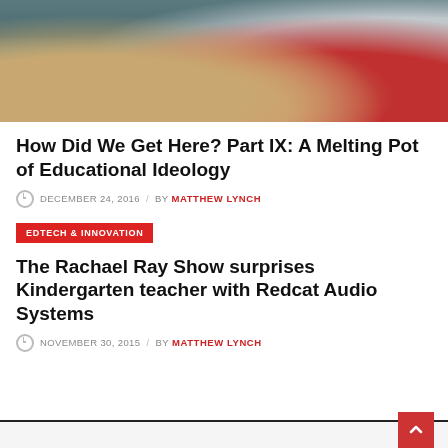[Figure (photo): Two people sitting on a couch with laptops, one wearing red pants, educational/technology context]
How Did We Get Here? Part IX: A Melting Pot of Educational Ideology
DECEMBER 24, 2016 / BY MATTHEW LYNCH
EDTECH & INNOVATION
The Rachael Ray Show surprises Kindergarten teacher with Redcat Audio Systems
NOVEMBER 30, 2015 / BY MATTHEW LYNCH